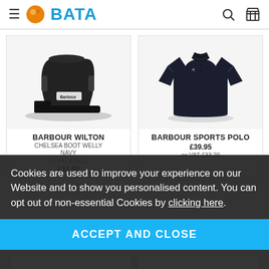BATA
[Figure (photo): Barbour Wilton Chelsea Boot Welly in Navy - black ankle rubber boot]
BARBOUR WILTON
CHELSEA BOOT WELLY
NAVY
ex VAT £29.12
£34.95
[Figure (photo): Barbour Sports Polo shirt in dark navy/black]
BARBOUR SPORTS POLO
£39.95
ex VAT £33.29
Cookies are used to improve your experience on our Website and to show you personalised content. You can opt out of non-essential Cookies by clicking here.
ACCEPT AND CLOSE